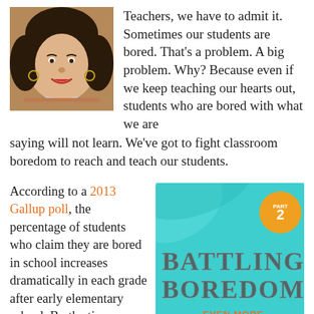[Figure (photo): Portrait photo of a woman with curly dark hair, smiling, wearing hoop earrings and a patterned top]
Teachers, we have to admit it. Sometimes our students are bored. That's a problem. A big problem. Why? Because even if we keep teaching our hearts out, students who are bored with what we are saying will not learn. We've got to fight classroom boredom to reach and teach our students.
According to a 2013 Gallup poll, the percentage of students who claim they are bored in school increases dramatically in each grade after early elementary school. By the time students start high school, as many as
[Figure (illustration): Book cover: 'Battling Boredom: Even More Strategies to Spark Student Engagement' Part 2, teal/turquoise background with decorative brush strokes]